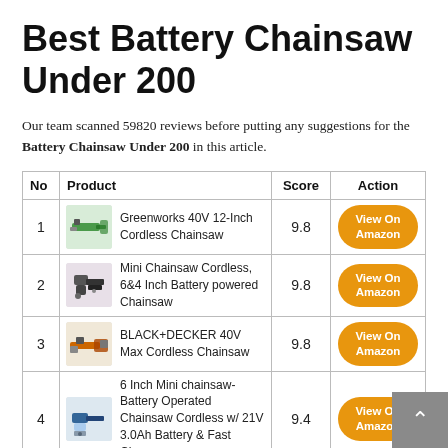Best Battery Chainsaw Under 200
Our team scanned 59820 reviews before putting any suggestions for the Battery Chainsaw Under 200 in this article.
| No | Product | Score | Action |
| --- | --- | --- | --- |
| 1 | Greenworks 40V 12-Inch Cordless Chainsaw | 9.8 | View On Amazon |
| 2 | Mini Chainsaw Cordless, 6&4 Inch Battery powered Chainsaw | 9.8 | View On Amazon |
| 3 | BLACK+DECKER 40V Max Cordless Chainsaw | 9.8 | View On Amazon |
| 4 | 6 Inch Mini chainsaw-Battery Operated Chainsaw Cordless w/ 21V 3.0Ah Battery & Fast Charger | 9.4 | View On Amazon |